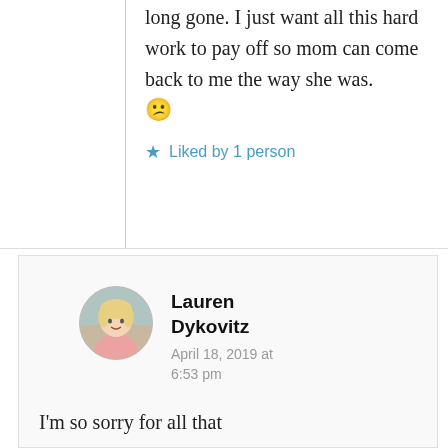long gone. I just want all this hard work to pay off so mom can come back to me the way she was. 😕
★ Liked by 1 person
Lauren Dykovitz
April 18, 2019 at 6:53 pm
I'm so sorry for all that